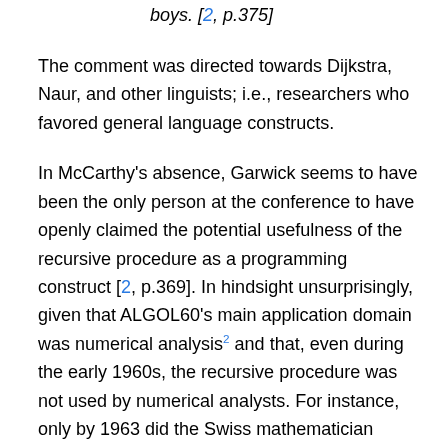boys. [2, p.375]
The comment was directed towards Dijkstra, Naur, and other linguists; i.e., researchers who favored general language constructs.
In McCarthy's absence, Garwick seems to have been the only person at the conference to have openly claimed the potential usefulness of the recursive procedure as a programming construct [2, p.369]. In hindsight unsurprisingly, given that ALGOL60's main application domain was numerical analysis2 and that, even during the early 1960s, the recursive procedure was not used by numerical analysts. For instance, only by 1963 did the Swiss mathematician Rutishauser find two examples of recursion for numerical computations which he himself found convincing. He also contrasted his two examples with others3 in which recursion could, and in his opinion